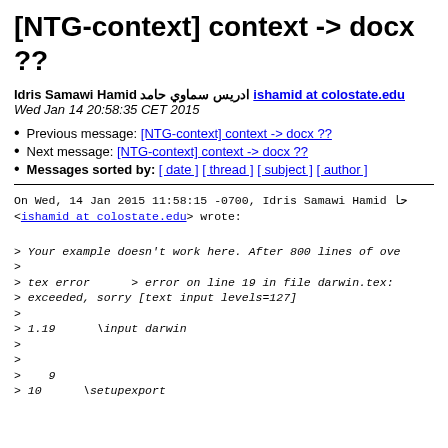[NTG-context] context -> docx ??
Idris Samawi Hamid ادريس سماوي حامد ishamid at colostate.edu
Wed Jan 14 20:58:35 CET 2015
Previous message: [NTG-context] context -> docx ??
Next message: [NTG-context] context -> docx ??
Messages sorted by: [ date ] [ thread ] [ subject ] [ author ]
On Wed, 14 Jan 2015 11:58:15 -0700, Idris Samawi Hamid حا
<ishamid at colostate.edu> wrote:

> Your example doesn't work here. After 800 lines of ove
>
> tex error      > error on line 19 in file darwin.tex:
> exceeded, sorry [text input levels=127]
>
> 1.19      \input darwin
>
>
>    9
> 10      \setupexport